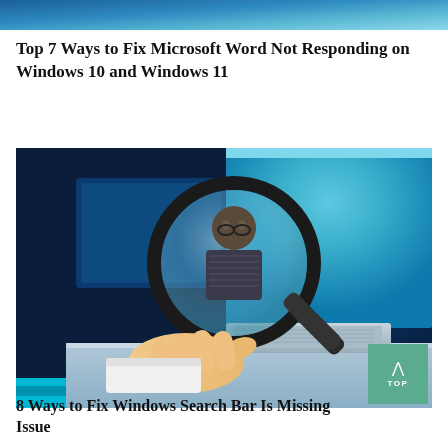[Figure (illustration): Partial top banner image showing blue gradient - top portion of a Windows-related article image]
Top 7 Ways to Fix Microsoft Word Not Responding on Windows 10 and Windows 11
[Figure (illustration): Illustration of a person looking through a magnifying glass with Windows 10 blue desktop background, with a hand holding the magnifying glass over a laptop keyboard]
8 Ways to Fix Windows Search Bar Is Missing Issue